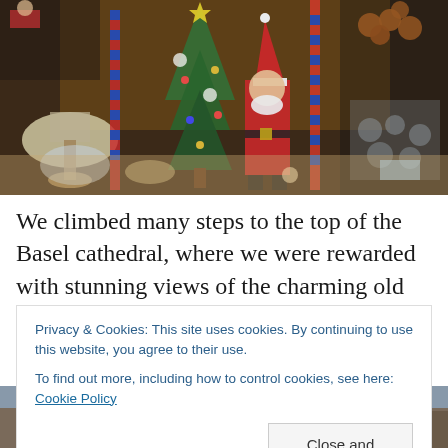[Figure (photo): Christmas shop window display with Santa Claus figurine, decorated Christmas tree, colorful ornamental poles, glass items and holiday decorations]
We climbed many steps to the top of the Basel cathedral, where we were rewarded with stunning views of the charming old city and holiday markets below. This may
Privacy & Cookies: This site uses cookies. By continuing to use this website, you agree to their use.
To find out more, including how to control cookies, see here: Cookie Policy
Close and accept
[Figure (photo): Bottom strip of a photo showing the old city of Basel from above]